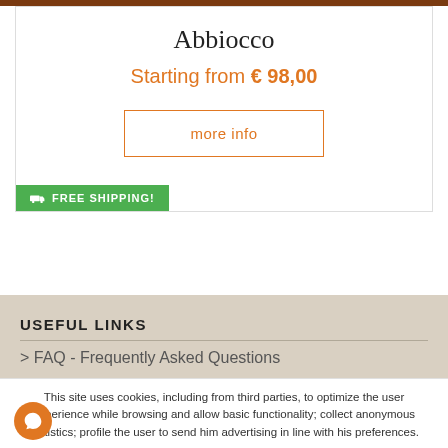Abbiocco
Starting from € 98,00
more info
FREE SHIPPING!
USEFUL LINKS
> FAQ - Frequently Asked Questions
This site uses cookies, including from third parties, to optimize the user experience while browsing and allow basic functionality; collect anonymous statistics; profile the user to send him advertising in line with his preferences.
Read the Cookie Policy  Accept All  Deny  Customize